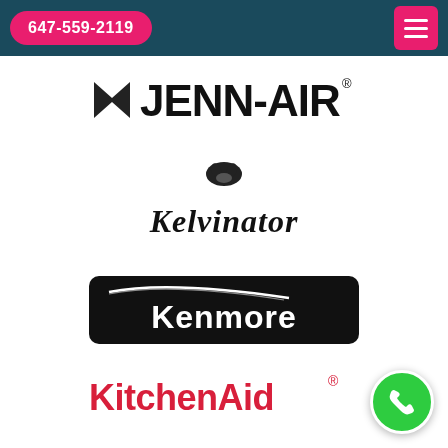647-559-2119
[Figure (logo): Jenn-Air brand logo in black, with envelope-like arrow symbol and stylized text JENN-AIR with registered trademark]
[Figure (logo): Kelvinator brand logo in black italic script with ornamental penguin mascot above]
[Figure (logo): Kenmore brand logo in white text on black rounded rectangle background with swoosh]
[Figure (logo): KitchenAid brand logo in red bold text with registered trademark symbol]